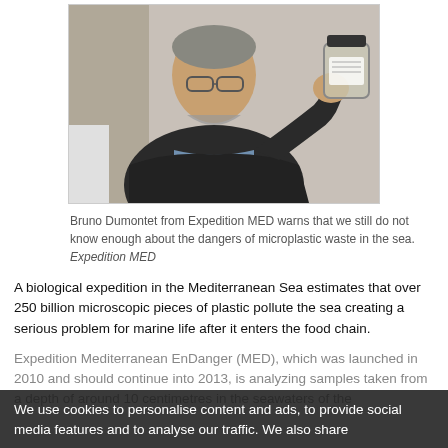[Figure (photo): A man (Bruno Dumontet) holding up a glass jar, wearing a dark jacket, with glasses. The jar contains a sample from the sea.]
Bruno Dumontet from Expedition MED warns that we still do not know enough about the dangers of microplastic waste in the sea.
Expedition MED
A biological expedition in the Mediterranean Sea estimates that over 250 billion microscopic pieces of plastic pollute the sea creating a serious problem for marine life after it enters the food chain.
Expedition Mediterranean EnDanger (MED), which was launched in 2010 and should continue into 2013, is analyzing samples taken from a depth of around 10 centimetres in the seawaters of the Mediterranean Sea to find out the concentration and sizes of plastic waste in the sea.
We use cookies to personalise content and ads, to provide social media features and to analyse our traffic. We also share